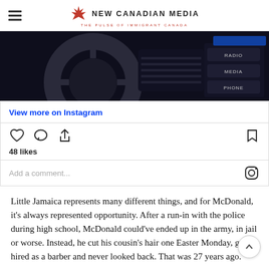NEW CANADIAN MEDIA — THE PULSE OF IMMIGRANT CANADA
[Figure (photo): Dark car dashboard interior showing radio/media/phone controls]
View more on Instagram
[Figure (infographic): Instagram embed action bar with heart, comment, share icons and bookmark icon; 48 likes; Add a comment... with Instagram logo]
Little Jamaica represents many different things, and for McDonald, it's always represented opportunity. After a run-in with the police during high school, McDonald could've ended up in the army, in jail or worse. Instead, he cut his cousin's hair one Easter Monday, get hired as a barber and never looked back. That was 27 years ago.